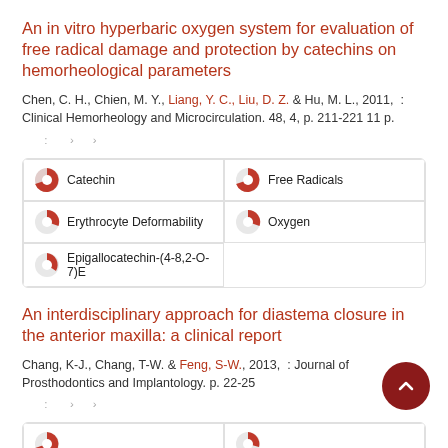An in vitro hyperbaric oxygen system for evaluation of free radical damage and protection by catechins on hemorheological parameters
Chen, C. H., Chien, M. Y., Liang, Y. C., Liu, D. Z. & Hu, M. L., 2011, : Clinical Hemorheology and Microcirculation. 48, 4, p. 211-221 11 p.
: › ›
Catechin
Free Radicals
Erythrocyte Deformability
Oxygen
Epigallocatechin-(4-8,2-O-7)E
An interdisciplinary approach for diastema closure in the anterior maxilla: a clinical report
Chang, K-J., Chang, T-W. & Feng, S-W., 2013, : Journal of Prosthodontics and Implantology. p. 22-25
: › ›